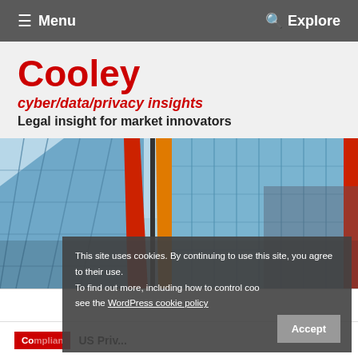≡ Menu    🔍 Explore
Cooley
cyber/data/privacy insights
Legal insight for market innovators
[Figure (photo): Upward angle photograph of a modern glass office building facade with red and orange vertical accent panels against a blue sky]
This site uses cookies. By continuing to use this site, you agree to their use.
To find out more, including how to control cookies, see the WordPress cookie policy
Accept
Compliance